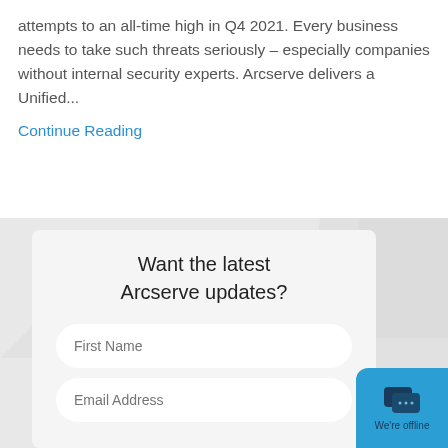attempts to an all-time high in Q4 2021. Every business needs to take such threats seriously – especially companies without internal security experts. Arcserve delivers a Unified...
Continue Reading
Want the latest Arcserve updates?
First Name
Email Address
We're offline